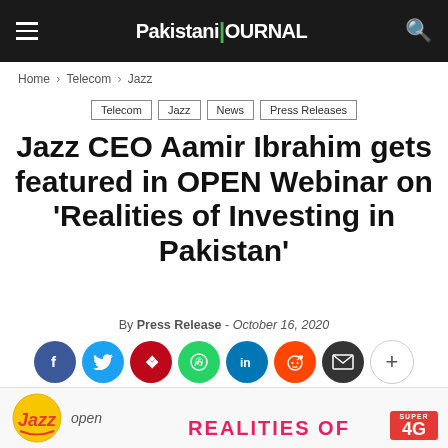Pakistani Journal
Home › Telecom › Jazz
Telecom  Jazz  News  Press Releases
Jazz CEO Aamir Ibrahim gets featured in OPEN Webinar on 'Realities of Investing in Pakistan'
By Press Release - October 16, 2020
[Figure (infographic): Social sharing buttons: Facebook, Twitter, Pinterest, WhatsApp, LinkedIn, Reddit, Email, Plus]
[Figure (logo): Jazz and OPEN logos with Super 4G badge, and REALITIES OF text at bottom]